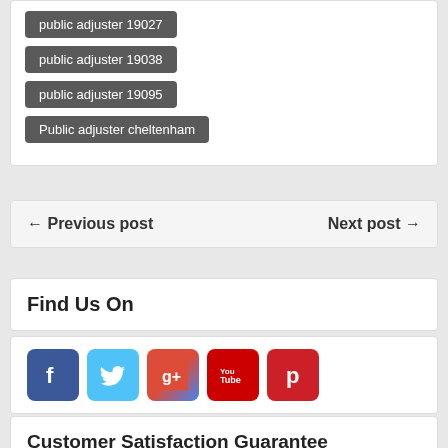public adjuster 19027
public adjuster 19038
public adjuster 19095
Public adjuster cheltenham
← Previous post    Next post →
Find Us On
[Figure (infographic): Social media icons: Facebook (blue), Twitter (light blue), Google+ (red/yellow/blue), YouTube (red), Pinterest (red)]
Customer Satisfaction Guarantee